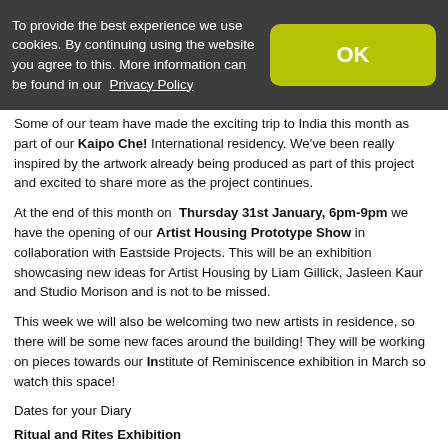To provide the best experience we use cookies. By continuing using the website you agree to this. More information can be found in our Privacy Policy
Some of our team have made the exciting trip to India this month as part of our Kaipo Che! International residency. We've been really inspired by the artwork already being produced as part of this project and excited to share more as the project continues.
At the end of this month on Thursday 31st January, 6pm-9pm we have the opening of our Artist Housing Prototype Show in collaboration with Eastside Projects. This will be an exhibition showcasing new ideas for Artist Housing by Liam Gillick, Jasleen Kaur and Studio Morison and is not to be missed.
This week we will also be welcoming two new artists in residence, so there will be some new faces around the building! They will be working on pieces towards our Institute of Reminiscence exhibition in March so watch this space!
Dates for your Diary
Ritual and Rites Exhibition